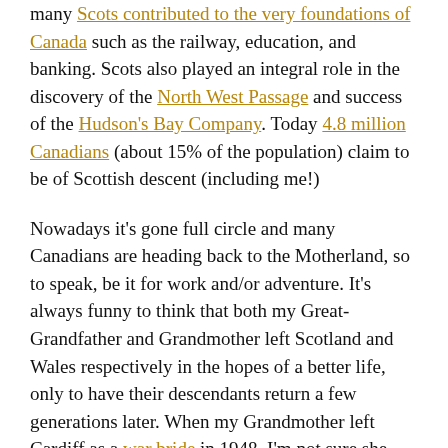many Scots contributed to the very foundations of Canada such as the railway, education, and banking. Scots also played an integral role in the discovery of the North West Passage and success of the Hudson's Bay Company. Today 4.8 million Canadians (about 15% of the population) claim to be of Scottish descent (including me!)
Nowadays it's gone full circle and many Canadians are heading back to the Motherland, so to speak, be it for work and/or adventure. It's always funny to think that both my Great-Grandfather and Grandmother left Scotland and Wales respectively in the hopes of a better life, only to have their descendants return a few generations later. When my Grandmother left Cardiff as a war bride in 1948, I'm not sure she ever saw her parents again. Nowadays, of course, the world is a vastly different place and people can move more easily between nations and continents. Moving abroad, even if temporarily, is hugely inspirational as well as challenging. I honestly believe it